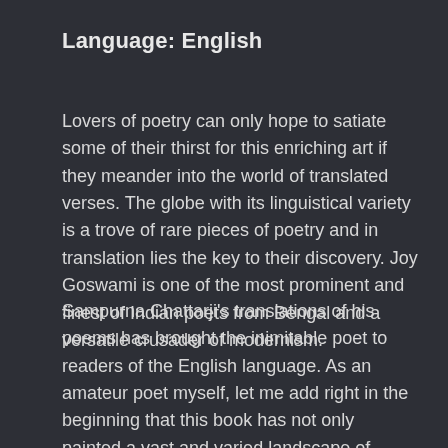Language: English
Lovers of poetry can only hope to satiate some of their thirst for this enriching art if they meander into the world of translated verses. The globe with its linguistical variety is a trove of rare pieces of poetry and in translation lies the key to their discovery. Joy Goswami is one of the most prominent and finest of Indian poets from Bengal and a versatile crusader of modernism.
Sampurna Chattarji's translations of his poems has brought the inimitable poet to readers of the English language. As an amateur poet myself, let me add right in the beginning that this book has not only painted a vast and varied landscape of prose poems but has also made me eager for more translations. It took me two back-to-back readings of 'After Death Comes Water' to understand the depth of emotions that characterize the